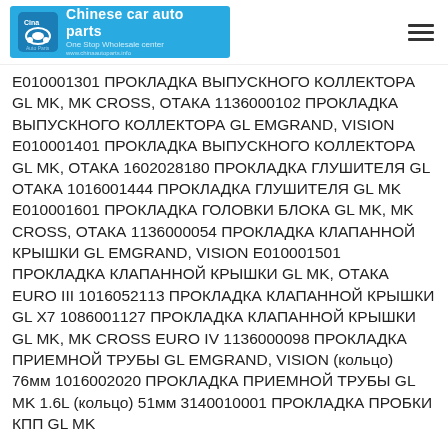Chinese car auto parts — One Stop Wholesale center
E010001301 ПРОКЛАДКА ВЫПУСКНОГО КОЛЛЕКТОРА GL MK, MK CROSS, ОТАКА 1136000102 ПРОКЛАДКА ВЫПУСКНОГО КОЛЛЕКТОРА GL EMGRAND, VISION E010001401 ПРОКЛАДКА ВЫПУСКНОГО КОЛЛЕКТОРА GL MK, ОТАКА 1602028180 ПРОКЛАДКА ГЛУШИТЕЛЯ GL ОТАКА 1016001444 ПРОКЛАДКА ГЛУШИТЕЛЯ GL MK E010001601 ПРОКЛАДКА ГОЛОВКИ БЛОКА GL MK, MK CROSS, ОТАКА 1136000054 ПРОКЛАДКА КЛАПАННОЙ КРЫШКИ GL EMGRAND, VISION E010001501 ПРОКЛАДКА КЛАПАННОЙ КРЫШКИ GL MK, ОТАКА EURO III 1016052113 ПРОКЛАДКА КЛАПАННОЙ КРЫШКИ GL X7 1086001127 ПРОКЛАДКА КЛАПАННОЙ КРЫШКИ GL MK, MK CROSS EURO IV 1136000098 ПРОКЛАДКА ПРИЕМНОЙ ТРУБЫ GL EMGRAND, VISION (кольцо) 76мм 1016002020 ПРОКЛАДКА ПРИЕМНОЙ ТРУБЫ GL MK 1.6L (кольцо) 51мм 3140010001 ПРОКЛАДКА ПРОБКИ КПП GL MK